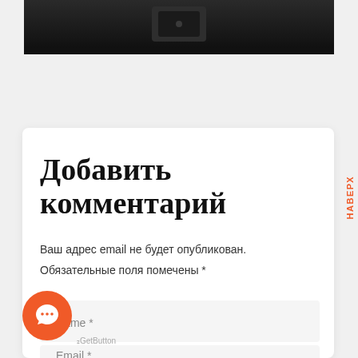[Figure (screenshot): Top portion of a dark device/screen image, cropped at the bottom edge]
Добавить комментарий
Ваш адрес email не будет опубликован.
Обязательные поля помечены *
Name *
Email *
[Figure (illustration): Orange circular chat button with speech bubble icon (GetButton widget)]